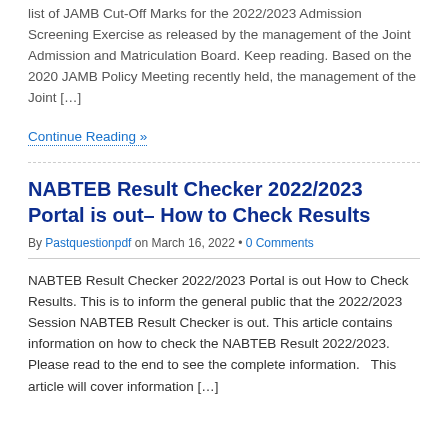list of JAMB Cut-Off Marks for the 2022/2023 Admission Screening Exercise as released by the management of the Joint Admission and Matriculation Board. Keep reading. Based on the 2020 JAMB Policy Meeting recently held, the management of the Joint […]
Continue Reading »
NABTEB Result Checker 2022/2023 Portal is out– How to Check Results
By Pastquestionpdf on March 16, 2022 • 0 Comments
NABTEB Result Checker 2022/2023 Portal is out How to Check Results. This is to inform the general public that the 2022/2023 Session NABTEB Result Checker is out. This article contains information on how to check the NABTEB Result 2022/2023. Please read to the end to see the complete information.   This article will cover information […]